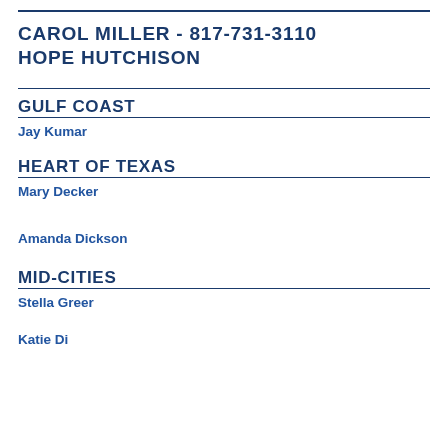CAROL MILLER - 817-731-3110
HOPE HUTCHISON
GULF COAST
Jay Kumar
HEART OF TEXAS
Mary Decker
Amanda Dickson
MID-CITIES
Stella Greer
Katie Di...